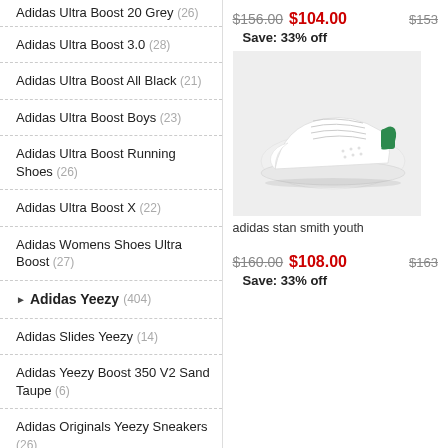Adidas Ultra Boost 20 Grey (26)
Adidas Ultra Boost 3.0 (28)
Adidas Ultra Boost All Black (21)
Adidas Ultra Boost Boys (23)
Adidas Ultra Boost Running Shoes (26)
Adidas Ultra Boost X (22)
Adidas Womens Shoes Ultra Boost (27)
Adidas Yeezy (404)
Adidas Slides Yeezy (14)
Adidas Yeezy Boost 350 V2 Sand Taupe (6)
Adidas Originals Yeezy Sneakers (26)
Adidas Yeezy Womens (15)
Men'S Adidas Originals Yeezy Shoes (19)
Adidas Yeezy Boost 700 Sun (7)
$156.00  $104.00   Save: 33% off
[Figure (photo): White Adidas Stan Smith youth sneaker with green heel tab on light grey background]
adidas stan smith youth
$160.00  $108.00   Save: 33% off